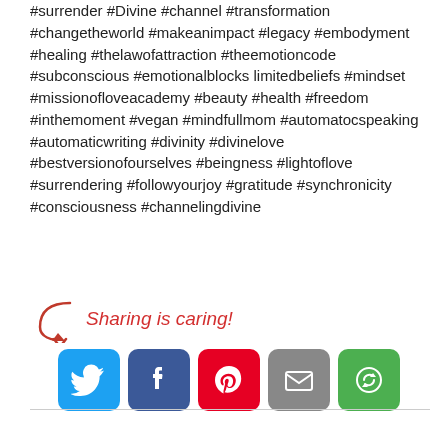#surrender #Divine #channel #transformation #changetheworld #makeanimpact #legacy #embodyment #healing #thelawofattraction #theemotioncode #subconscious #emotionalblocks limitedbeliefs #mindset #missionofloveacademy #beauty #health #freedom #inthemoment #vegan #mindfullmom #automatocspeaking #automaticwriting #divinity #divinelove #bestversionofourselves #beingness #lightoflove #surrendering #followyourjoy #gratitude #synchronicity #consciousness #channelingdivine
[Figure (infographic): Sharing is caring text in red cursive with arrow, and 5 social share buttons: Twitter (blue bird), Facebook (blue F), Pinterest (red P), Email (grey envelope), More (green circular arrows)]